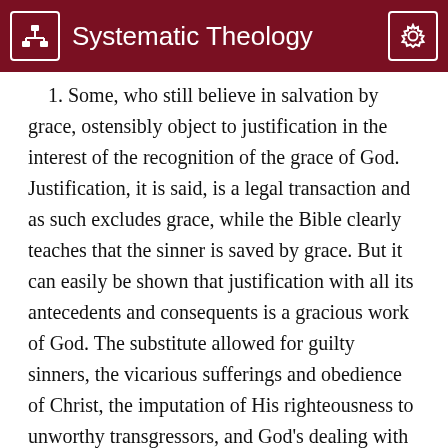Systematic Theology
1. Some, who still believe in salvation by grace, ostensibly object to justification in the interest of the recognition of the grace of God. Justification, it is said, is a legal transaction and as such excludes grace, while the Bible clearly teaches that the sinner is saved by grace. But it can easily be shown that justification with all its antecedents and consequents is a gracious work of God. The substitute allowed for guilty sinners, the vicarious sufferings and obedience of Christ, the imputation of His righteousness to unworthy transgressors, and God's dealing with believers as righteous, — it is all free grace from start to finish.